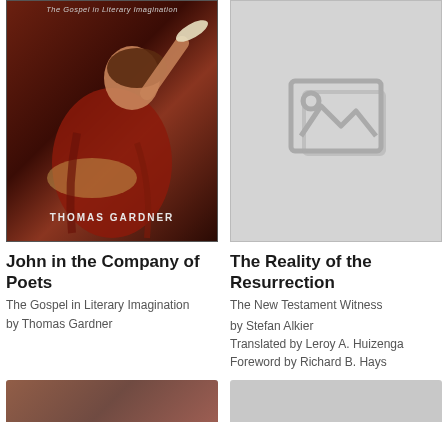[Figure (illustration): Book cover of 'John in the Company of Poets' by Thomas Gardner, featuring a classical painting of a figure in red robes writing with a quill pen, looking upward]
John in the Company of Poets
The Gospel in Literary Imagination
by Thomas Gardner
[Figure (photo): Placeholder image icon for book cover of 'The Reality of the Resurrection']
The Reality of the Resurrection
The New Testament Witness
by Stefan Alkier
Translated by Leroy A. Huizenga
Foreword by Richard B. Hays
[Figure (photo): Partial bottom-left book cover thumbnail, cropped]
[Figure (photo): Partial bottom-right book cover thumbnail, cropped]